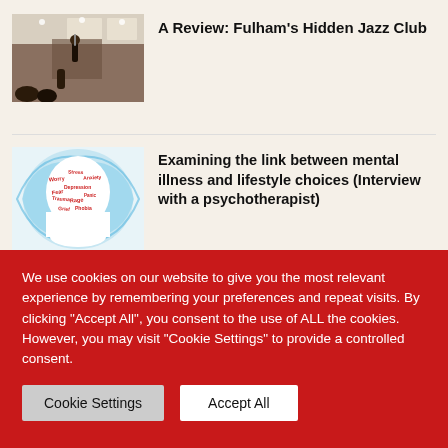[Figure (photo): People at a jazz club venue, indoor setting with warm lighting]
A Review: Fulham's Hidden Jazz Club
[Figure (illustration): Illustration of a human head silhouette filled with text labels related to mental health conditions, surrounded by blue swirls]
Examining the link between mental illness and lifestyle choices (Interview with a psychotherapist)
[Figure (photo): Hands forming a heart shape against a sunset sky]
Long-distance love: audio
We use cookies on our website to give you the most relevant experience by remembering your preferences and repeat visits. By clicking "Accept All", you consent to the use of ALL the cookies. However, you may visit "Cookie Settings" to provide a controlled consent.